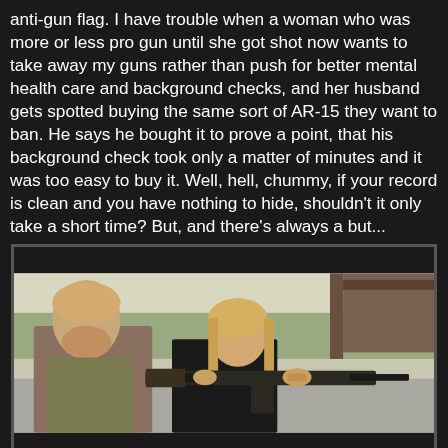anti-gun flag. I have trouble when a woman who was more or less pro gun until she got shot now wants to take away my guns rather than push for better mental health care and background checks, and her husband gets spotted buying the same sort of AR-15 they want to ban. He says he bought it to prove a point, that his background check took only a matter of minutes and it was too easy to buy it. Well, hell, chummy, if your record is clean and you have nothing to hide, shouldn't it only take a short time? But, and there's always a but...
[Figure (photo): A woman holding and aiming a rifle (appears to be an AK-style firearm) at an outdoor shooting range. A bearded man stands to her left. The background shows trees and a covered range structure.]